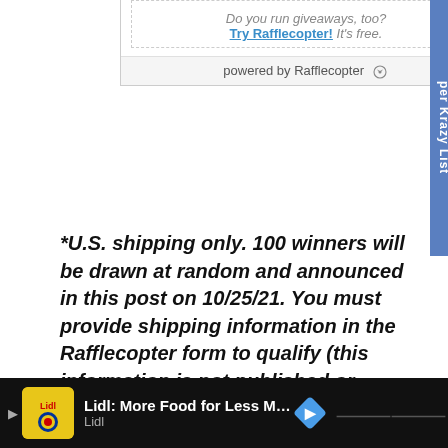[Figure (screenshot): Rafflecopter widget footer showing 'Do you run giveaways, too? Try Rafflecopter! It's free.' with dashed border, and 'powered by Rafflecopter' bar below with icon. A blue sidebar tab on the right reads 'per Krazy List' vertically.]
*U.S. shipping only. 100 winners will be drawn at random and announced in this post on 10/25/21. You must provide shipping information in the Rafflecopter form to qualify (this information is not published or retained, it is only for the purpose of prize fulfillment). Giveaway sponsored and fulfilled by Undercover Snacks. Giveaway is in no way sponsored, endorsed,
[Figure (screenshot): Advertisement bar at bottom: Lidl 'More Food for Less Money' ad with Lidl logo, a blue navigation arrow icon, and two 'WW' brand icons on a black background.]